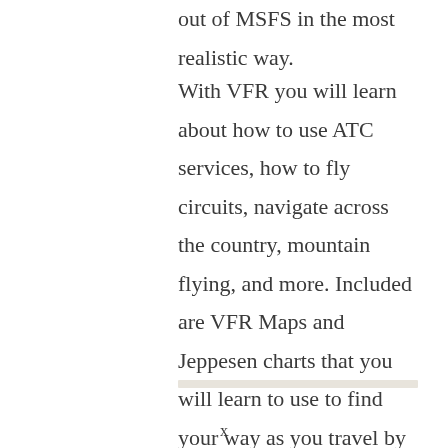out of MSFS in the most realistic way.
With VFR you will learn about how to use ATC services, how to fly circuits, navigate across the country, mountain flying, and more. Included are VFR Maps and Jeppesen charts that you will learn to use to find your way as you travel by sight alone. By following the 12 included missions you will start with the basics and make your way up to a series of solo bush trips.
x